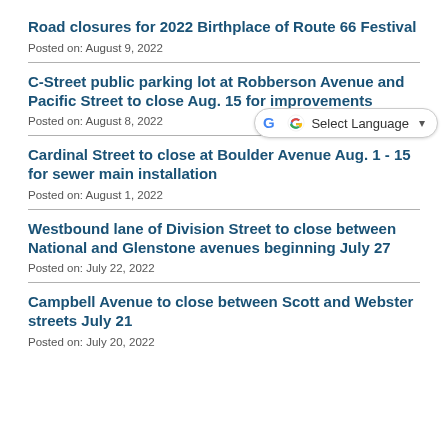Road closures for 2022 Birthplace of Route 66 Festival
Posted on: August 9, 2022
C-Street public parking lot at Robberson Avenue and Pacific Street to close Aug. 15 for improvements
Posted on: August 8, 2022
Cardinal Street to close at Boulder Avenue Aug. 1 - 15 for sewer main installation
Posted on: August 1, 2022
Westbound lane of Division Street to close between National and Glenstone avenues beginning July 27
Posted on: July 22, 2022
Campbell Avenue to close between Scott and Webster streets July 21
Posted on: July 20, 2022